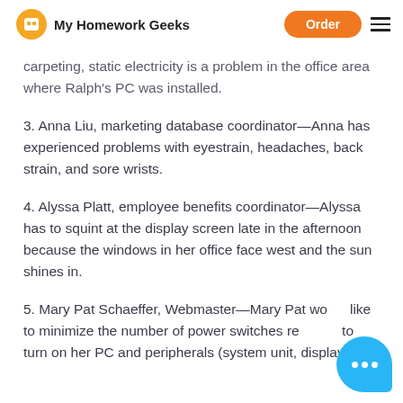My Homework Geeks | Order
2. Ralph Emerson, accounting specialist—Because of the carpeting, static electricity is a problem in the office area where Ralph's PC was installed.
3. Anna Liu, marketing database coordinator—Anna has experienced problems with eyestrain, headaches, back strain, and sore wrists.
4. Alyssa Platt, employee benefits coordinator—Alyssa has to squint at the display screen late in the afternoon because the windows in her office face west and the sun shines in.
5. Mary Pat Schaeffer, Webmaster—Mary Pat would like to minimize the number of power switches required to turn on her PC and peripherals (system unit, display